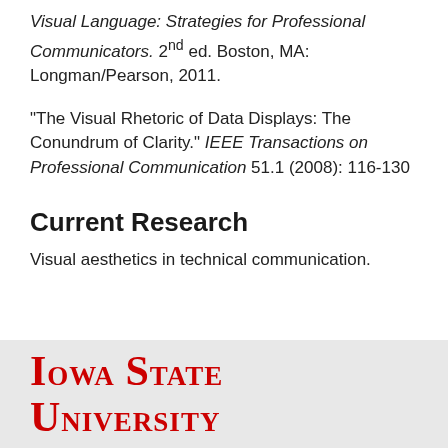Visual Language: Strategies for Professional Communicators. 2nd ed. Boston, MA: Longman/Pearson, 2011.
“The Visual Rhetoric of Data Displays: The Conundrum of Clarity.” IEEE Transactions on Professional Communication 51.1 (2008): 116-130
Current Research
Visual aesthetics in technical communication.
[Figure (logo): Iowa State University logo in red serif small-caps font reading IOWA STATE UNIVERSITY]